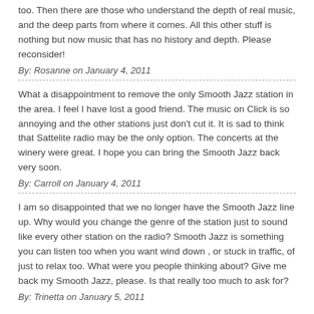too. Then there are those who understand the depth of real music, and the deep parts from where it comes. All this other stuff is nothing but now music that has no history and depth. Please reconsider!
By: Rosanne on January 4, 2011
What a disappointment to remove the only Smooth Jazz station in the area. I feel I have lost a good friend. The music on Click is so annoying and the other stations just don't cut it. It is sad to think that Sattelite radio may be the only option. The concerts at the winery were great. I hope you can bring the Smooth Jazz back very soon.
By: Carroll on January 4, 2011
I am so disappointed that we no longer have the Smooth Jazz line up. Why would you change the genre of the station just to sound like every other station on the radio? Smooth Jazz is something you can listen too when you want wind down , or stuck in traffic, of just to relax too. What were you people thinking about? Give me back my Smooth Jazz, please. Is that really too much to ask for?
By: Trinetta on January 5, 2011